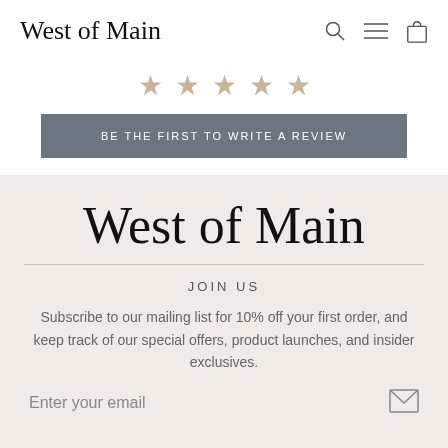West of Main
[Figure (other): Five empty star rating icons in beige/tan color]
BE THE FIRST TO WRITE A REVIEW
[Figure (logo): West of Main script logo, large, centered on beige background]
JOIN US
Subscribe to our mailing list for 10% off your first order, and keep track of our special offers, product launches, and insider exclusives.
Enter your email